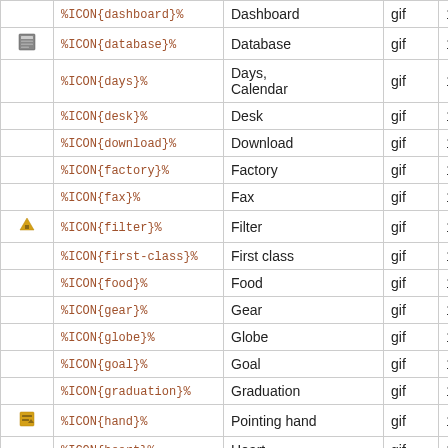|  | Code | Name | Type | Size |
| --- | --- | --- | --- | --- |
|  | %ICON{dashboard}% | Dashboard | gif | 16x16 |
| [db] | %ICON{database}% | Database | gif | 16x16 |
|  | %ICON{days}% | Days, Calendar | gif | 16x16 |
|  | %ICON{desk}% | Desk | gif | 16x16 |
|  | %ICON{download}% | Download | gif | 16x16 |
|  | %ICON{factory}% | Factory | gif | 16x16 |
|  | %ICON{fax}% | Fax | gif | 16x16 |
| [filter] | %ICON{filter}% | Filter | gif | 16x16 |
|  | %ICON{first-class}% | First class | gif | 16x16 |
|  | %ICON{food}% | Food | gif | 16x16 |
|  | %ICON{gear}% | Gear | gif | 16x16 |
|  | %ICON{globe}% | Globe | gif | 16x16 |
|  | %ICON{goal}% | Goal | gif | 16x16 |
|  | %ICON{graduation}% | Graduation | gif | 16x16 |
| [hand] | %ICON{hand}% | Pointing hand | gif | 16x16 |
|  | %ICON{heart}% | Heart | gif | 16x16 |